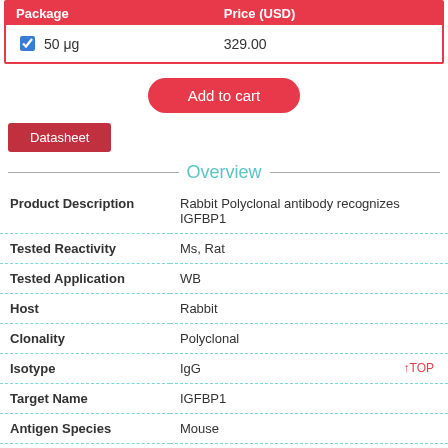| Package | Price (USD) |
| --- | --- |
| 50 μg | 329.00 |
Add to cart
Datasheet
Overview
| Field | Value |
| --- | --- |
| Product Description | Rabbit Polyclonal antibody recognizes IGFBP1 |
| Tested Reactivity | Ms, Rat |
| Tested Application | WB |
| Host | Rabbit |
| Clonality | Polyclonal |
| Isotype | IgG |
| Target Name | IGFBP1 |
| Antigen Species | Mouse |
| Immunogen | Synthetic peptide corresponding to the |